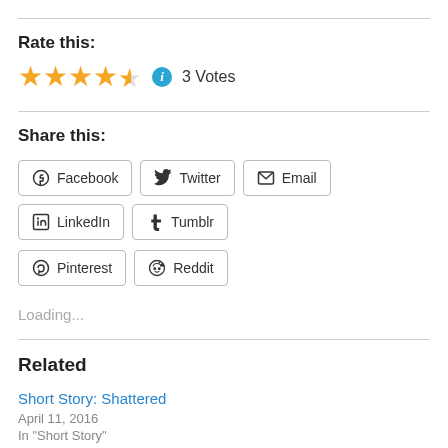Rate this:
4.5 stars, 3 Votes
Share this:
Facebook
Twitter
Email
LinkedIn
Tumblr
Pinterest
Reddit
Loading...
Related
Short Story: Shattered
April 11, 2016
In "Short Story"